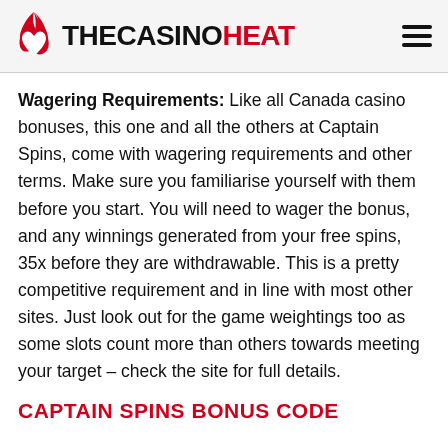THECASINOHEAT
Wagering Requirements: Like all Canada casino bonuses, this one and all the others at Captain Spins, come with wagering requirements and other terms. Make sure you familiarise yourself with them before you start. You will need to wager the bonus, and any winnings generated from your free spins, 35x before they are withdrawable. This is a pretty competitive requirement and in line with most other sites. Just look out for the game weightings too as some slots count more than others towards meeting your target – check the site for full details.
CAPTAIN SPINS BONUS CODE